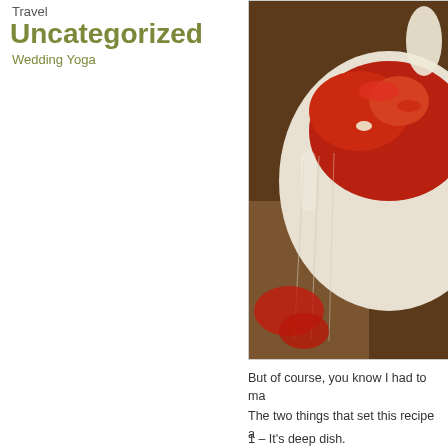Travel
Uncategorized
Wedding Yoga
[Figure (photo): Close-up photo of a white ceramic bowl containing a red tomato-based dish, viewed from above at an angle. The bowl has ridged sides and the food appears to be a soup or sauce with visible ingredients.]
But of course, you know I had to ma
The two things that set this recipe a
1 – It's deep dish.